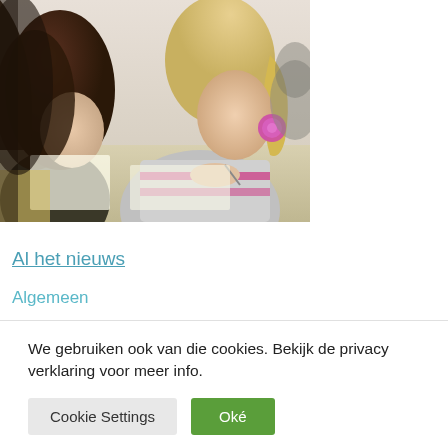[Figure (photo): Two female students writing/studying at desks in a classroom setting. The student in focus on the right has blonde hair in a ponytail and is wearing a grey and pink striped sweater with large pink hoop earrings. Another student with dark reddish-brown hair is visible on the left.]
Al het nieuws
Algemeen
We gebruiken ook van die cookies. Bekijk de privacy verklaring voor meer info.
Cookie Settings
Oké